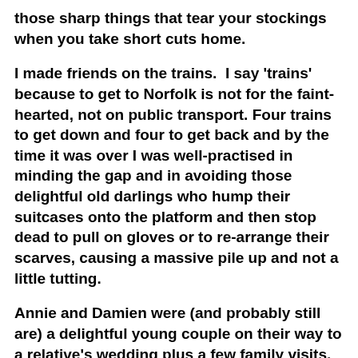those sharp things that tear your stockings when you take short cuts home.
I made friends on the trains.  I say 'trains' because to get to Norfolk is not for the faint-hearted, not on public transport. Four trains to get down and four to get back and by the time it was over I was well-practised in minding the gap and in avoiding those delightful old darlings who hump their suitcases onto the platform and then stop dead to pull on gloves or to re-arrange their scarves, causing a massive pile up and not a little tutting.
Annie and Damien were (and probably still are) a delightful young couple on their way to a relative's wedding plus a few family visits.  I knew Annie was going to be fun when she said, as she reached up to the luggage rack, and her flat, firm midriff was revealed, that